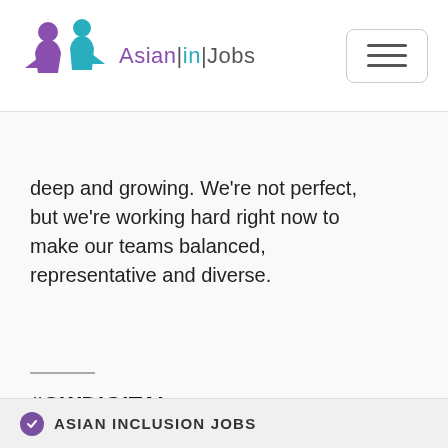[Figure (logo): Asian in Jobs logo with two silhouette figures (purple and teal) and text 'Asian|in|Jobs']
deep and growing. We're not perfect, but we're working hard right now to make our teams balanced, representative and diverse.
#OWDIGITAL
THIS JOB HAS EXPIRED.
ASIAN INCLUSION JOBS